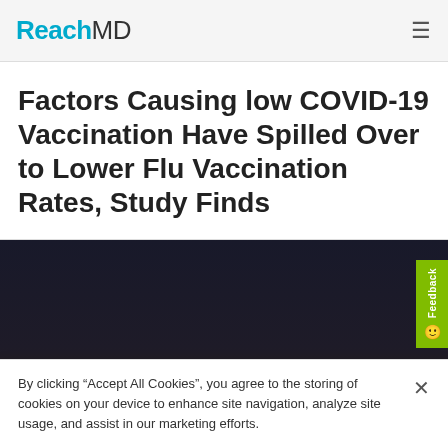ReachMD
Factors Causing low COVID-19 Vaccination Have Spilled Over to Lower Flu Vaccination Rates, Study Finds
[Figure (photo): Dark background photo showing gold/bronze pharmaceutical capsules and pills scattered on a dark navy surface]
By clicking “Accept All Cookies”, you agree to the storing of cookies on your device to enhance site navigation, analyze site usage, and assist in our marketing efforts.